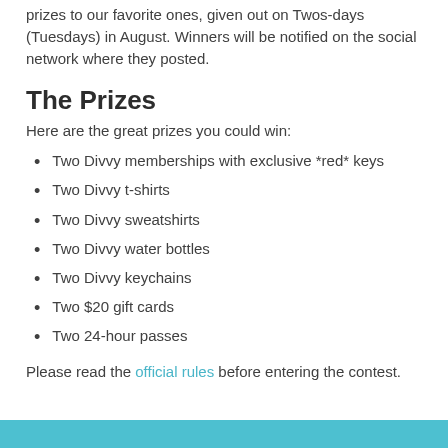prizes to our favorite ones, given out on Twos-days (Tuesdays) in August. Winners will be notified on the social network where they posted.
The Prizes
Here are the great prizes you could win:
Two Divvy memberships with exclusive *red* keys
Two Divvy t-shirts
Two Divvy sweatshirts
Two Divvy water bottles
Two Divvy keychains
Two $20 gift cards
Two 24-hour passes
Please read the official rules before entering the contest.